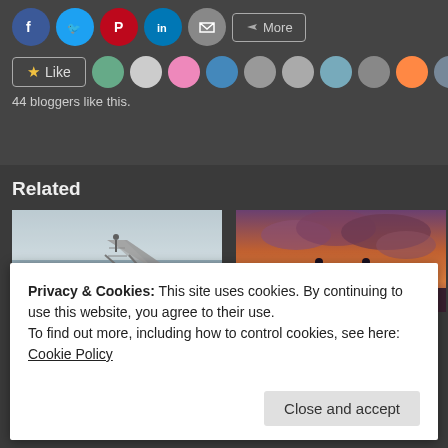[Figure (screenshot): Social share buttons: Facebook, Twitter, Pinterest, LinkedIn, Email, More]
44 bloggers like this.
Related
[Figure (photo): Black and white photo of a person standing on a dock/pier over water extending into fog]
Apology
[Figure (photo): Silhouette of two cyclists holding hands against a sunset sky]
Be someone's
Privacy & Cookies: This site uses cookies. By continuing to use this website, you agree to their use.
To find out more, including how to control cookies, see here: Cookie Policy
Close and accept